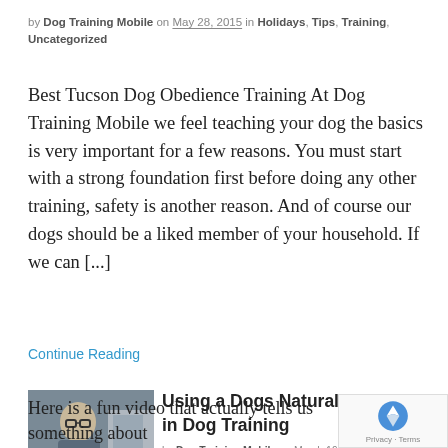by Dog Training Mobile on May 28, 2015 in Holidays, Tips, Training, Uncategorized
Best Tucson Dog Obedience Training At Dog Training Mobile we feel teaching your dog the basics is very important for a few reasons. You must start with a strong foundation first before doing any other training, safety is another reason. And of course our dogs should be a liked member of your household. If we can [...]
Continue Reading
[Figure (photo): Thumbnail photo of a man with glasses holding a small dog, indoor setting]
Using a Dogs Natural Instincts in Dog Training
by Dog Training Mobile on March 16, 2015 in Holidays, Tips, Training, Uncategorized
Here is a fun video that actually tells us something about